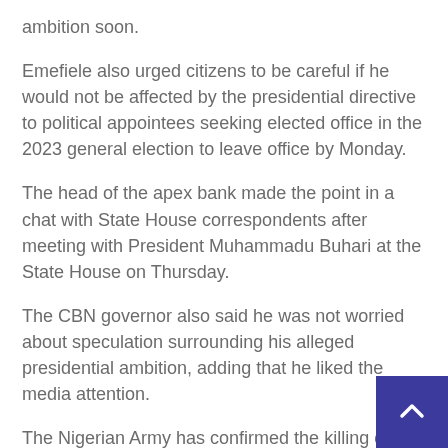ambition soon.
Emefiele also urged citizens to be careful if he would not be affected by the presidential directive to political appointees seeking elected office in the 2023 general election to leave office by Monday.
The head of the apex bank made the point in a chat with State House correspondents after meeting with President Muhammadu Buhari at the State House on Thursday.
The CBN governor also said he was not worried about speculation surrounding his alleged presidential ambition, adding that he liked the media attention.
The Nigerian Army has confirmed the killing of six soldiers by suspected bandits in Taraba State during a rescue operation in the Tati community of the st